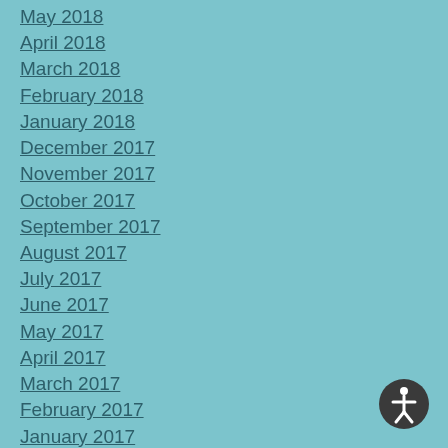May 2018
April 2018
March 2018
February 2018
January 2018
December 2017
November 2017
October 2017
September 2017
August 2017
July 2017
June 2017
May 2017
April 2017
March 2017
February 2017
January 2017
December 2016
November 2016
October 2016
September 2016
August 2016
July 2016
June 2016